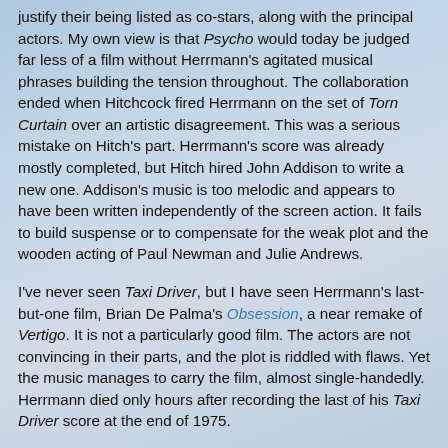justify their being listed as co-stars, along with the principal actors. My own view is that Psycho would today be judged far less of a film without Herrmann's agitated musical phrases building the tension throughout. The collaboration ended when Hitchcock fired Herrmann on the set of Torn Curtain over an artistic disagreement. This was a serious mistake on Hitch's part. Herrmann's score was already mostly completed, but Hitch hired John Addison to write a new one. Addison's music is too melodic and appears to have been written independently of the screen action. It fails to build suspense or to compensate for the weak plot and the wooden acting of Paul Newman and Julie Andrews.
I've never seen Taxi Driver, but I have seen Herrmann's last-but-one film, Brian De Palma's Obsession, a near remake of Vertigo. It is not a particularly good film. The actors are not convincing in their parts, and the plot is riddled with flaws. Yet the music manages to carry the film, almost single-handedly. Herrmann died only hours after recording the last of his Taxi Driver score at the end of 1975.
Herrmann has been much imitated. But in my view the only composer who has ever approached Herrmann in his ability...